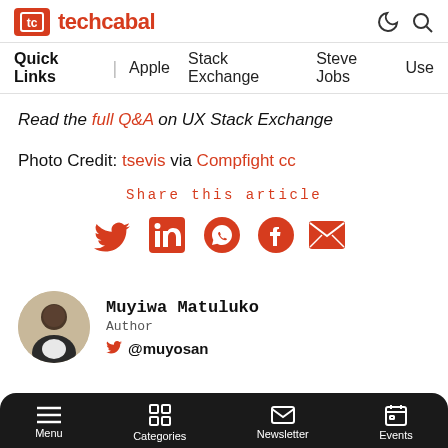techcabal
Quick Links | Apple  Stack Exchange  Steve Jobs  Use
Read the full Q&A on UX Stack Exchange
Photo Credit: tsevis via Compfight cc
Share this article
[Figure (infographic): Social share icons: Twitter, LinkedIn, WhatsApp, Facebook, Email]
Muyiwa Matuluko
Author
@muyosan
Menu  Categories  Newsletter  Events